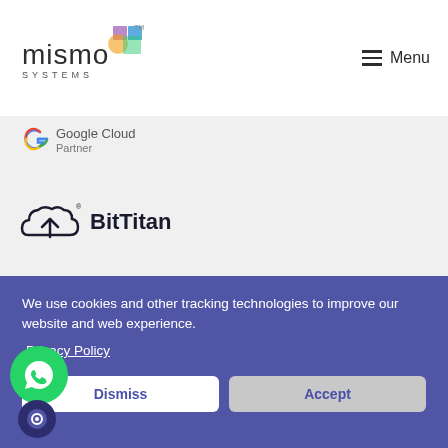Mismo Systems — Menu
[Figure (logo): Mismo Systems logo with colorful geometric shapes and text 'mismo SYSTEMS']
[Figure (logo): Google Cloud Partner logo with Google G icon and text 'Google Cloud Partner']
[Figure (logo): BitTitan logo with cloud icon and bold text 'BitTitan']
We use cookies and other tracking technologies to improve our website and web experience.
Privacy Policy
Dismiss
Accept